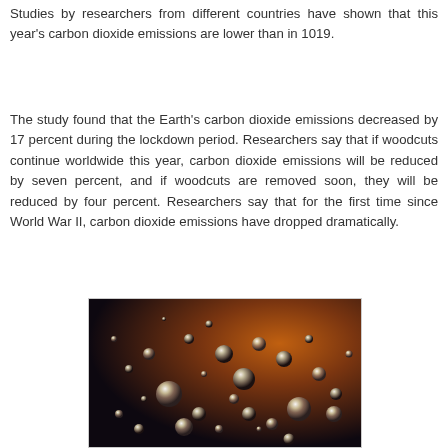Studies by researchers from different countries have shown that this year's carbon dioxide emissions are lower than in 1019.
The study found that the Earth's carbon dioxide emissions decreased by 17 percent during the lockdown period. Researchers say that if woodcuts continue worldwide this year, carbon dioxide emissions will be reduced by seven percent, and if woodcuts are removed soon, they will be reduced by four percent. Researchers say that for the first time since World War II, carbon dioxide emissions have dropped dramatically.
[Figure (photo): Close-up photograph of metallic silver spherical droplets/bubbles on a dark background with warm orange-brown tones, resembling mercury or water droplets.]